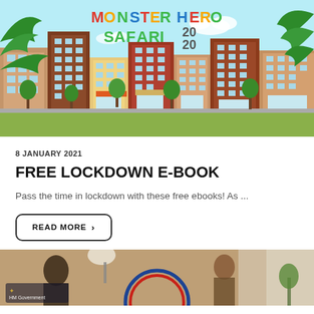[Figure (illustration): Monster Hero Safari 2020 illustrated banner showing cartoon city street with colourful buildings, palm trees, and green trees against a light blue sky. The title 'MONSTER HERO SAFARI 2020' is written in colourful decorative lettering at the top.]
8 JANUARY 2021
FREE LOCKDOWN E-BOOK
Pass the time in lockdown with these free ebooks! As ...
READ MORE >
[Figure (photo): Bottom of page photo showing people in a room with HM Government logo/branding overlay including a red, white and blue circular badge.]